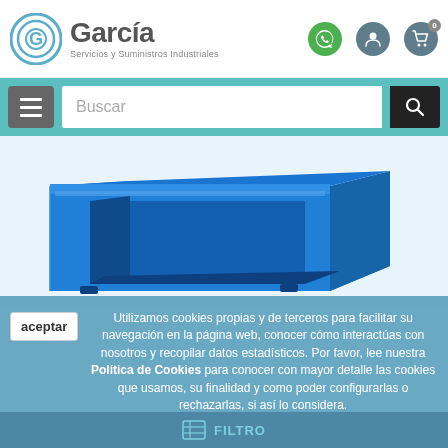[Figure (logo): García Servicios y Suministros Industriales logo with circular G icon]
[Figure (screenshot): Navigation bar with hamburger menu, search input field with placeholder 'Buscar', and search button on teal background]
[Figure (photo): Blue plastic open-front storage bin/tote box on white background]
Utilizamos cookies propias y de terceros para facilitar su navegación en la página web, conocer cómo interactúas con nosotros y recopilar datos estadísticos. Por favor, lee nuestra Política de Cookies para conocer con mayor detalle las cookies que usamos, su finalidad y como poder configurarlas o rechazarlas, si así lo considera.
aceptar
FILTRO